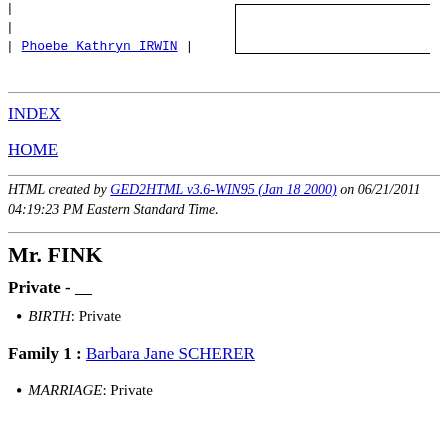[Figure (other): Genealogy tree diagram showing vertical lines and a link to Phoebe Kathryn IRWIN with horizontal lines on the right side]
INDEX
HOME
HTML created by GED2HTML v3.6-WIN95 (Jan 18 2000) on 06/21/2011 04:19:23 PM Eastern Standard Time.
Mr. FINK
Private - ____
BIRTH: Private
Family 1 : Barbara Jane SCHERER
MARRIAGE: Private